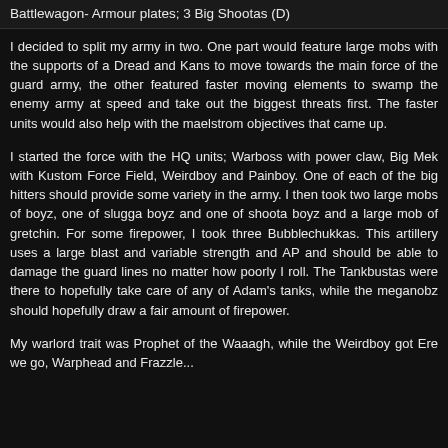Battlewagon- Armour plates; 3 Big Shootas (D)
I decided to split my army in two. One part would feature large mobs with the supports of a Dread and Kans to move towards the main force of the guard army, the other featured faster moving elements to swamp the enemy army at speed and take out the biggest threats first. The faster units would also help with the maelstrom objectives that came up.
I started the force with the HQ units; Warboss with power claw, Big Mek with Kustom Force Field, Weirdboy and Painboy. One of each of the big hitters should provide some variety in the army. I then took two large mobs of boyz, one of slugga boyz and one of shoota boyz and a large mob of gretchin. For some firepower, I took three Bubblechukkas. This artillery uses a large blast and variable strength and AP and should be able to damage the guard lines no matter how poorly I roll. The Tankbustas were there to hopefully take care of any of Adam's tanks, while the meganobz should hopefully draw a fair amount of firepower.
My warlord trait was Prophet of the Waaagh, while the Weirdboy got Ere we go, Warphead and Frazzle...